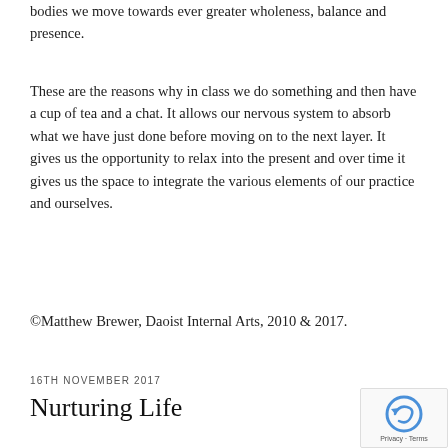bodies we move towards ever greater wholeness, balance and presence.
These are the reasons why in class we do something and then have a cup of tea and a chat. It allows our nervous system to absorb what we have just done before moving on to the next layer. It gives us the opportunity to relax into the present and over time it gives us the space to integrate the various elements of our practice and ourselves.
©Matthew Brewer, Daoist Internal Arts, 2010 & 2017.
16TH NOVEMBER 2017
Nurturing Life